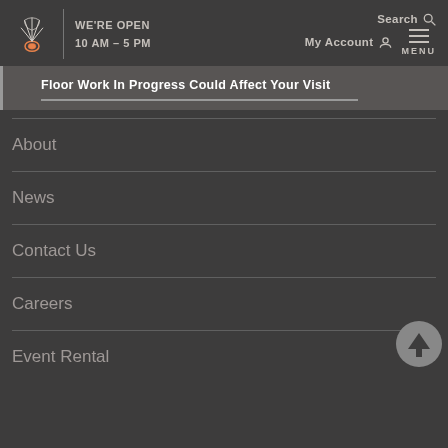WE'RE OPEN 10 AM – 5 PM | Search | My Account | MENU
Floor Work In Progress Could Affect Your Visit
About
News
Contact Us
Careers
Event Rental